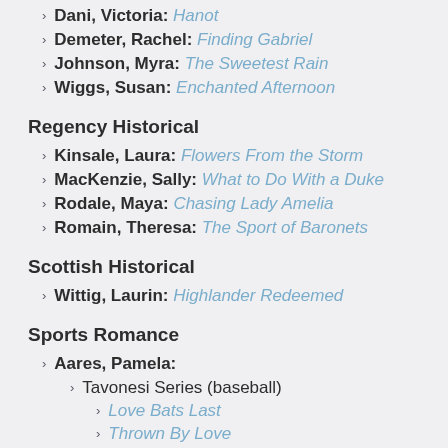Dani, Victoria: Hanot
Demeter, Rachel: Finding Gabriel
Johnson, Myra: The Sweetest Rain
Wiggs, Susan: Enchanted Afternoon
Regency Historical
Kinsale, Laura: Flowers From the Storm
MacKenzie, Sally: What to Do With a Duke
Rodale, Maya: Chasing Lady Amelia
Romain, Theresa: The Sport of Baronets
Scottish Historical
Wittig, Laurin: Highlander Redeemed
Sports Romance
Aares, Pamela:
Tavonesi Series (baseball)
Love Bats Last
Thrown By Love
Fielder's Choice